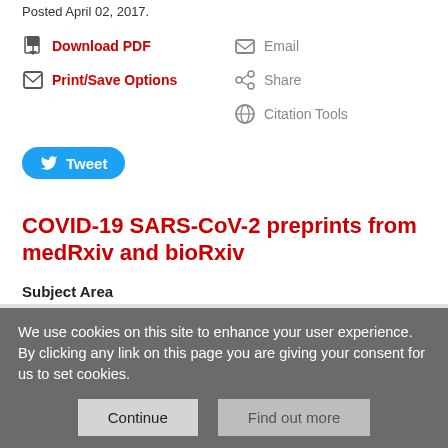Posted April 02, 2017.
Download PDF
Print/Save Options
Email
Share
Citation Tools
Tweet
COVID-19 SARS-CoV-2 preprints from medRxiv and bioRxiv
Subject Area
Developmental Biology
Subject Areas
We use cookies on this site to enhance your user experience. By clicking any link on this page you are giving your consent for us to set cookies.